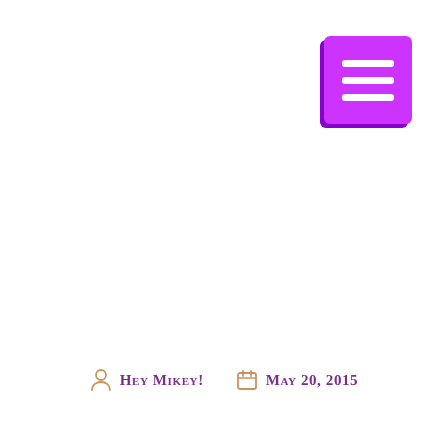[Figure (other): Purple/magenta hamburger menu button with three white horizontal bars, positioned in the top-right corner with a dark purple shadow offset to the left and bottom.]
Hey Mikey! May 20, 2015